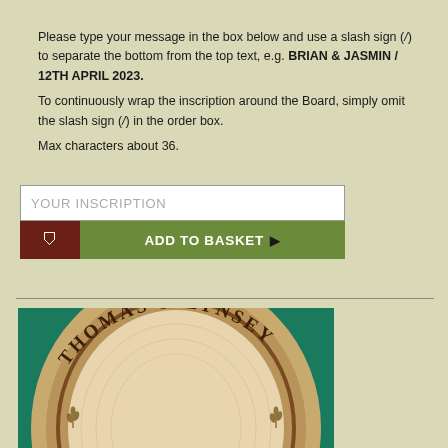Please type your message in the box below and use a slash sign (/) to separate the bottom from the top text, e.g. BRIAN & JASMIN / 12TH APRIL 2023.
To continuously wrap the inscription around the Board, simply omit the slash sign (/) in the order box.
Max characters about 36.
[Figure (screenshot): An input text box with placeholder text 'YOUR INSCRIPTION' and a two-part Add to Basket button below it (dark red basket icon section and olive green text section with arrow)]
[Figure (photo): A wooden oval cheese/bread board with 'THOMAS & LYNSEY' carved around the top rim, displayed against a teal/dark green background]